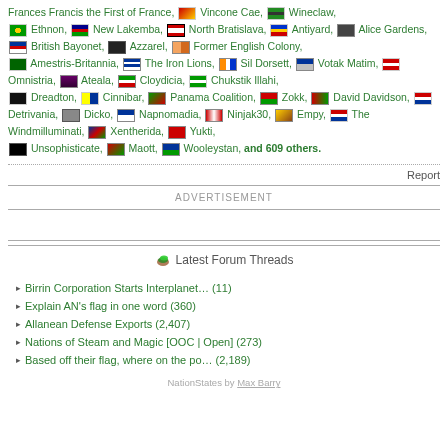Frances Francis the First of France, Vincone Cae, Wineclaw, Ethnon, New Lakemba, North Bratislava, Antiyard, Alice Gardens, British Bayonet, Azzarel, Former English Colony, Amestris-Britannia, The Iron Lions, Sil Dorsett, Votak Matim, Omnistria, Ateala, Cloydicia, Chukstik Illahi, Dreadton, Cinnibar, Panama Coalition, Zokk, David Davidson, Detrivania, Dicko, Napnomadia, Ninjak30, Empy, The Windmilluminati, Xentherida, Yukti, Unsophisticate, Maott, Wooleystan, and 609 others.
Report
ADVERTISEMENT
Latest Forum Threads
Birrin Corporation Starts Interplanet… (11)
Explain AN's flag in one word (360)
Allanean Defense Exports (2,407)
Nations of Steam and Magic [OOC | Open] (273)
Based off their flag, where on the po… (2,189)
NationStates by Max Barry